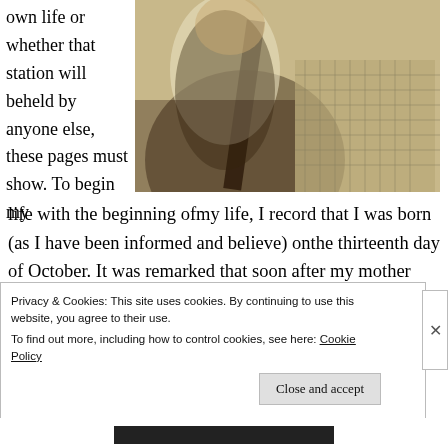own life or whether that station will beheld by anyone else, these pages must show. To begin my
[Figure (photo): Old sepia-toned photograph of a person, close-up showing upper body with clothing including a checkered/tweed jacket]
life with the beginning ofmy life, I record that I was born (as I have been informed and believe) onthe thirteenth day of October. It was remarked that soon after my mother
Privacy & Cookies: This site uses cookies. By continuing to use this website, you agree to their use.
To find out more, including how to control cookies, see here: Cookie Policy
[Close and accept]